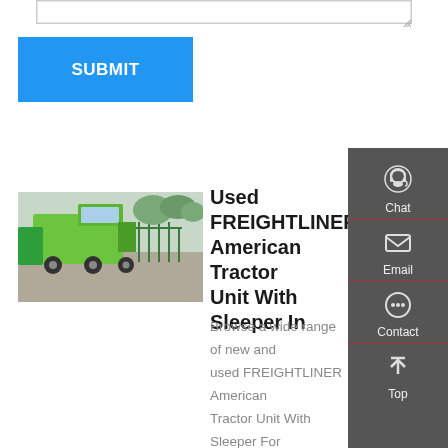[Figure (screenshot): Text input area with resize handle at top of page]
SUBMIT
[Figure (photo): Green FREIGHTLINER dump trucks parked in a lot with trees in background]
Used FREIGHTLINER American Tractor Unit With Sleeper In
Browse a wide range of new and used FREIGHTLINER American Tractor Unit With Sleeper For Sale In Tennessee within UK. Find the perfect lorry at Truck
[Figure (infographic): Dark grey sidebar with Chat, Email, Contact, and Top navigation icons]